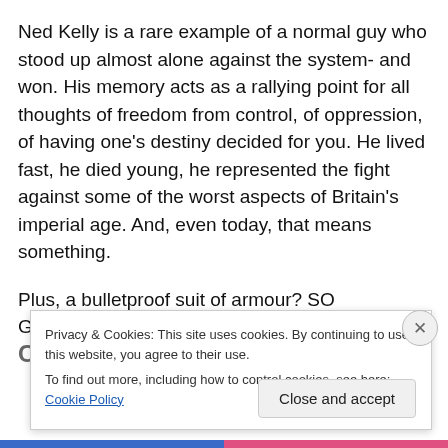Ned Kelly is a rare example of a normal guy who stood up almost alone against the system- and won. His memory acts as a rallying point for all thoughts of freedom from control, of oppression, of having one's destiny decided for you. He lived fast, he died young, he represented the fight against some of the worst aspects of Britain's imperial age. And, even today, that means something.
Plus, a bulletproof suit of armour? SO GODDAMN COOL!!!
Privacy & Cookies: This site uses cookies. By continuing to use this website, you agree to their use.
To find out more, including how to control cookies, see here: Cookie Policy
Close and accept